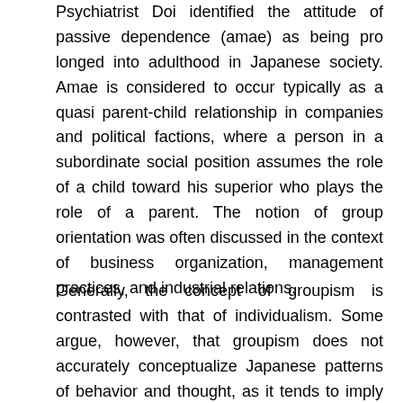Psychiatrist Doi identified the attitude of passive dependence (amae) as being pro longed into adulthood in Japanese society. Amae is considered to occur typically as a quasi parent-child relationship in companies and political factions, where a person in a subordinate social position assumes the role of a child toward his superior who plays the role of a parent. The notion of group orientation was often discussed in the context of business organization, management practices, and industrial relations.
Generally, the concept of groupism is contrasted with that of individualism. Some argue, however, that groupism does not accurately conceptualize Japanese patterns of behavior and thought, as it tends to imply group members immersion into and loyalty to the organization. Hence, sociologist Hamaguchi proposed the notion of kanjinshugi (literally, "interpersonalism, or